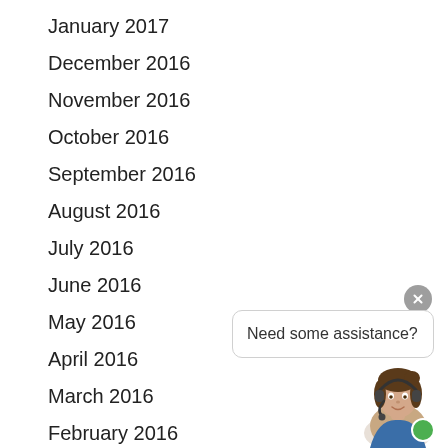January 2017
December 2016
November 2016
October 2016
September 2016
August 2016
July 2016
June 2016
May 2016
April 2016
March 2016
February 2016
January 2016
December 2015
November 2015
[Figure (screenshot): Chat widget with close button (X), a speech bubble saying 'Need some assistance?', and a female customer service avatar with headset and green online indicator dot.]